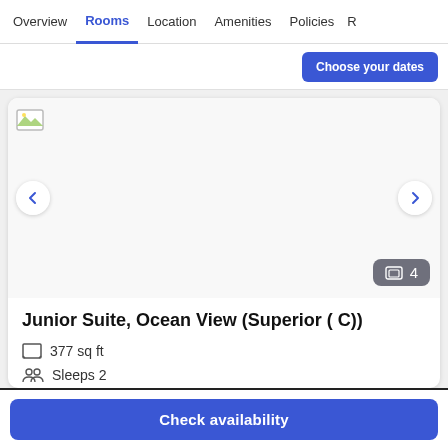Overview  Rooms  Location  Amenities  Policies  R
Choose your dates
[Figure (screenshot): Hotel room image area with broken image icon, left and right navigation arrows, and photo count badge showing 4]
Junior Suite, Ocean View (Superior ( C))
377 sq ft
Sleeps 2
1 King Bed (partially visible)
Check availability